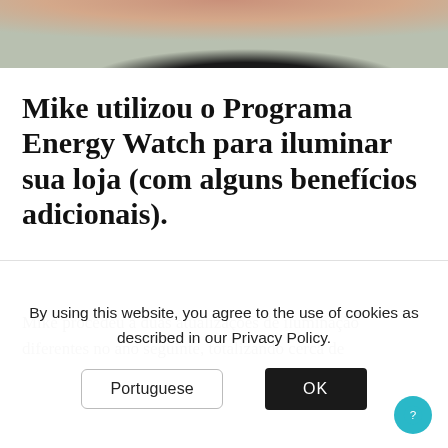[Figure (photo): Cropped photo of a person wearing a dark/black shirt, with arms visible at the top of the frame, partially cropped at the bottom of the image strip.]
Mike utilizou o Programa Energy Watch para iluminar sua loja (com alguns benefícios adicionais).
Mike procedeu a duas atualizações de iluminação diferentes no ano seguinte, totalizando cerca de
By using this website, you agree to the use of cookies as described in our Privacy Policy.
Portuguese
OK